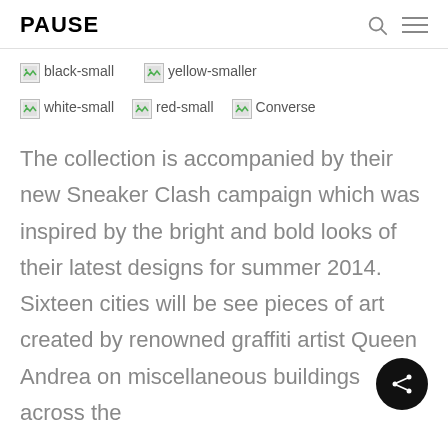PAUSE
[Figure (screenshot): Broken image placeholders for 'black-small' and 'yellow-smaller' color swatches]
[Figure (screenshot): Broken image placeholders for 'white-small', 'red-small', and 'Converse' images]
The collection is accompanied by their new Sneaker Clash campaign which was inspired by the bright and bold looks of their latest designs for summer 2014.  Sixteen cities will be see pieces of art created by renowned graffiti artist Queen Andrea on miscellaneous buildings across the